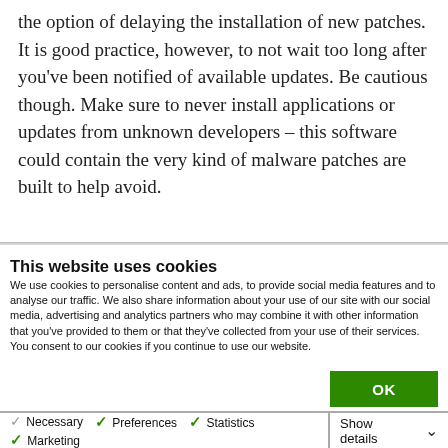the option of delaying the installation of new patches. It is good practice, however, to not wait too long after you've been notified of available updates. Be cautious though. Make sure to never install applications or updates from unknown developers – this software could contain the very kind of malware patches are built to help avoid.
This website uses cookies
We use cookies to personalise content and ads, to provide social media features and to analyse our traffic. We also share information about your use of our site with our social media, advertising and analytics partners who may combine it with other information that you've provided to them or that they've collected from your use of their services. You consent to our cookies if you continue to use our website.